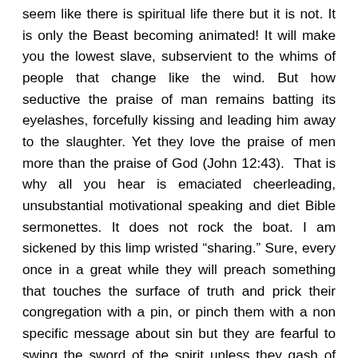seem like there is spiritual life there but it is not. It is only the Beast becoming animated! It will make you the lowest slave, subservient to the whims of people that change like the wind. But how seductive the praise of man remains batting its eyelashes, forcefully kissing and leading him away to the slaughter. Yet they love the praise of men more than the praise of God (John 12:43). That is why all you hear is emaciated cheerleading, unsubstantial motivational speaking and diet Bible sermonettes. It does not rock the boat. I am sickened by this limp wristed “sharing.” Sure, every once in a great while they will preach something that touches the surface of truth and prick their congregation with a pin, or pinch them with a non specific message about sin but they are fearful to swing the sword of the spirit unless they gash of few of their large tithe payers. This is done at the cost of souls. How such preachers will spend